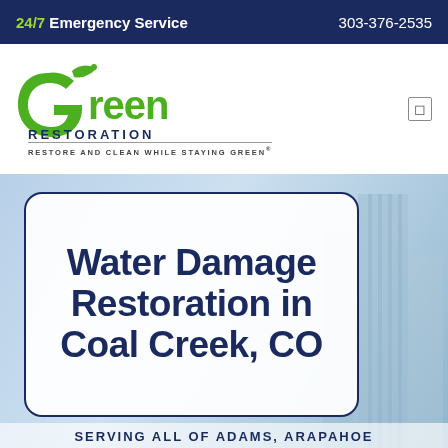24/7 Emergency Service   303-376-2535
[Figure (logo): Green Restoration logo with green leaf swirl forming a 'G', text 'Green RESTORATION' and tagline 'RESTORE AND CLEAN WHILE STAYING GREEN®']
Water Damage Restoration in Coal Creek, CO
SERVING ALL OF ADAMS, ARAPAHOE